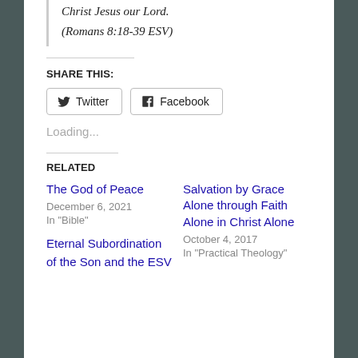Christ Jesus our Lord.
(Romans 8:18-39 ESV)
SHARE THIS:
Twitter  Facebook
Loading...
RELATED
The God of Peace
December 6, 2021
In "Bible"
Salvation by Grace Alone through Faith Alone in Christ Alone
October 4, 2017
In "Practical Theology"
Eternal Subordination of the Son and the ESV